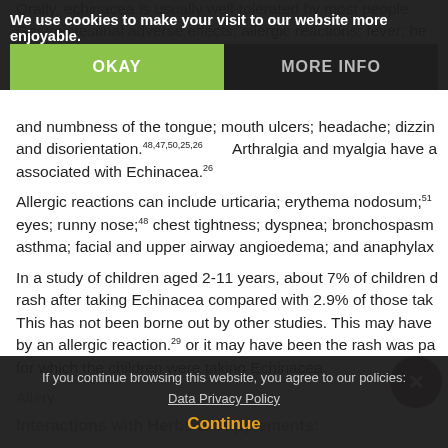Orally, echinacea is usually well-tolerated by most people. Gastrointestinal adverse effects; allergic reactions; fever; headache; unpleasant taste; dry mouth; sore throat; tingling and numbness of the tongue; mouth ulcers; headache; dizziness; and disorientation.48,47,50,25,26 Arthralgia and myalgia have also been associated with Echinacea.26
Allergic reactions can include urticaria; erythema nodosum;51 eyes; runny nose;48 chest tightness; dyspnea; bronchospasm; asthma; facial and upper airway angioedema; and anaphylaxis.
In a study of children aged 2-11 years, about 7% of children developed a rash after taking Echinacea compared with 2.9% of those taking placebo. This has not been borne out by other studies. This may have been caused by an allergic reaction.29 or it may have been the rash was part of the illness for which the children were taking Echinacea.
Allergic reactions ...
Interactions with Herbs & Supplements:
We use cookies to make your visit to our website more enjoyable.
If you continue browsing this website, you agree to our policies: Data Privacy Policy
Continue